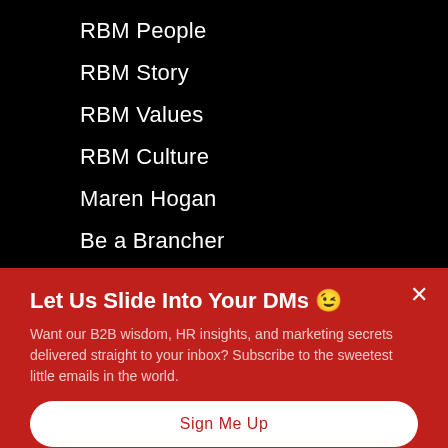RBM People
RBM Story
RBM Values
RBM Culture
Maren Hogan
Be a Brancher
Website Onboarding
Let Us Slide Into Your DMs 😉
Want our B2B wisdom, HR insights, and marketing secrets delivered straight to your inbox? Subscribe to the sweetest little emails in the world.
Sign Me Up